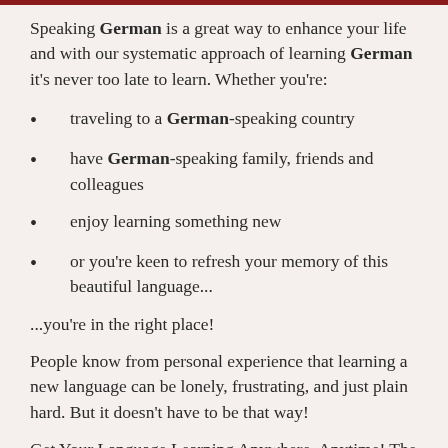Speaking German is a great way to enhance your life and with our systematic approach of learning German it's never too late to learn. Whether you're:
traveling to a German-speaking country
have German-speaking family, friends and colleagues
enjoy learning something new
or you're keen to refresh your memory of this beautiful language...
...you're in the right place!
People know from personal experience that learning a new language can be lonely, frustrating, and just plain hard. But it doesn't have to be that way!
Get Your Language Learning Anywhere, Anytime! The language learning ought to be – fun and easy to